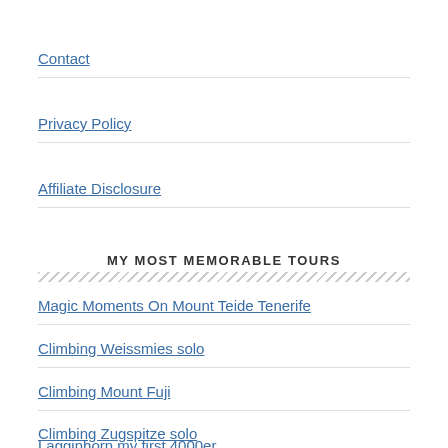Contact
Privacy Policy
Affiliate Disclosure
MY MOST MEMORABLE TOURS
Magic Moments On Mount Teide Tenerife
Climbing Weissmies solo
Climbing Mount Fuji
Climbing Zugspitze solo
Lagginhorn my first 4000er